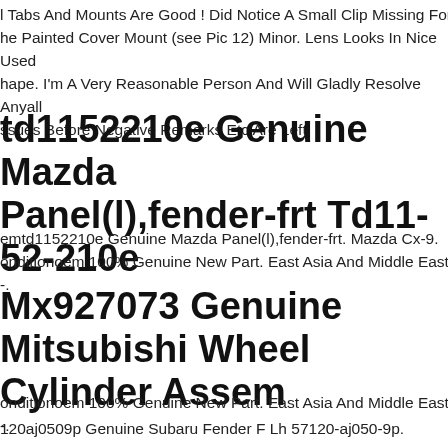l Tabs And Mounts Are Good ! Did Notice A Small Clip Missing For he Painted Cover Mount (see Pic 12) Minor. Lens Looks In Nice Used hape. I'm A Very Reasonable Person And Will Gladly Resolve Anyall ssues Before Negative Remarks Etc Are Left.
td1152210e Genuine Mazda Panel(l),fender-frt Td11-52-210e
emtd1152210e Genuine Mazda Panel(l),fender-frt. Mazda Cx-9. onditionoem 100% Genuine New Part. East Asia And Middle East -.
Mx927073 Genuine Mitsubishi Wheel Cylinder Assem
onditionoem 100% Genuine New Part. East Asia And Middle East -.
120aj0509p Genuine Subaru Fender F Lh 57120-aj050-9p.
onditionoem 100% Genuine New Part. East Asia And Middle East -.